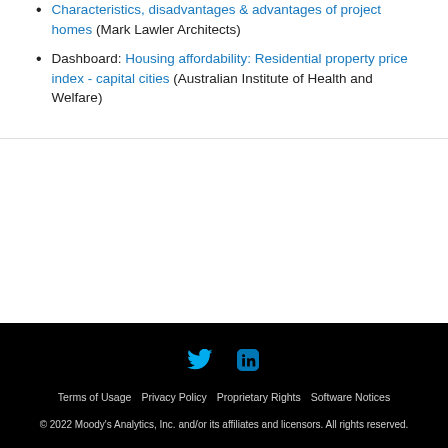Characteristics, disadvantages & advantages of project homes (Mark Lawler Architects)
Dashboard: Housing affordability: Residential property price index - capital cities (Australian Institute of Health and Welfare)
Terms of Usage  Privacy Policy  Proprietary Rights  Software Notices
© 2022 Moody's Analytics, Inc. and/or its affiliates and licensors. All rights reserved.